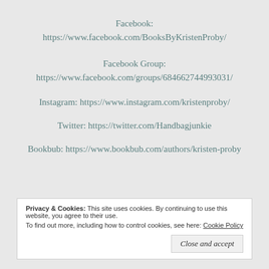Facebook:
https://www.facebook.com/BooksByKristenProby/
Facebook Group:
https://www.facebook.com/groups/684662744993031/
Instagram: https://www.instagram.com/kristenproby/
Twitter: https://twitter.com/Handbagjunkie
Bookbub: https://www.bookbub.com/authors/kristen-proby
Privacy & Cookies:  This site uses cookies. By continuing to use this website, you agree to their use.
To find out more, including how to control cookies, see here: Cookie Policy
Close and accept